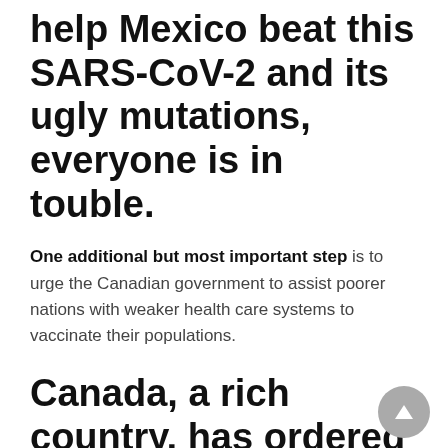help Mexico beat this SARS-CoV-2 and its ugly mutations, everyone is in touble.
One additional but most important step is to urge the Canadian government to assist poorer nations with weaker health care systems to vaccinate their populations.
Canada, a rich country, has ordered enough vaccines to vaccinate its population five times over, say some estimates. That behaviour say some scientists delays herd immunity?